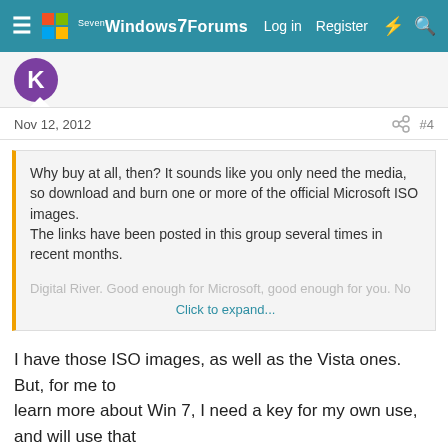≡ Windows 7 Forums   Log in   Register   ⚡   🔍
[Figure (other): Purple avatar circle with letter K, partially visible at top]
Nov 12, 2012   #4
Why buy at all, then? It sounds like you only need the media, so download and burn one or more of the official Microsoft ISO images.
The links have been posted in this group several times in recent months.
Click to expand...
I have those ISO images, as well as the Vista ones. But, for me to
learn more about Win 7, I need a key for my own use, and will use that
key to install in VM software.